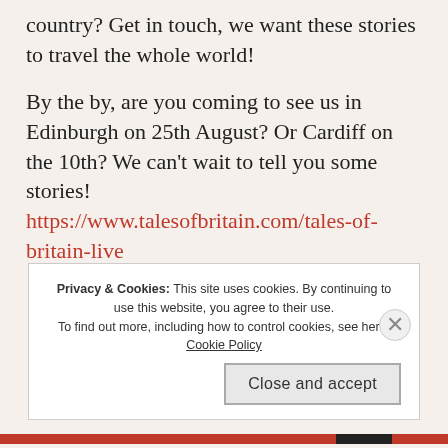country? Get in touch, we want these stories to travel the whole world!
By the by, are you coming to see us in Edinburgh on 25th August? Or Cardiff on the 10th? We can't wait to tell you some stories! https://www.talesofbritain.com/tales-of-britain-live
Privacy & Cookies: This site uses cookies. By continuing to use this website, you agree to their use.
To find out more, including how to control cookies, see here: Cookie Policy
Close and accept